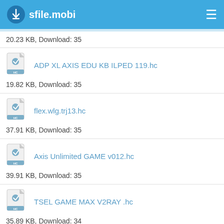sfile.mobi
20.23 KB, Download: 35
ADP XL AXIS EDU KB ILPED 119.hc
19.82 KB, Download: 35
flex.wlg.trj13.hc
37.91 KB, Download: 35
Axis Unlimited GAME v012.hc
39.91 KB, Download: 35
TSEL GAME MAX V2RAY .hc
35.89 KB, Download: 34
MW SOCKS PLUS 1.0-BETA TESTER.apk
793 MB, Download: 34